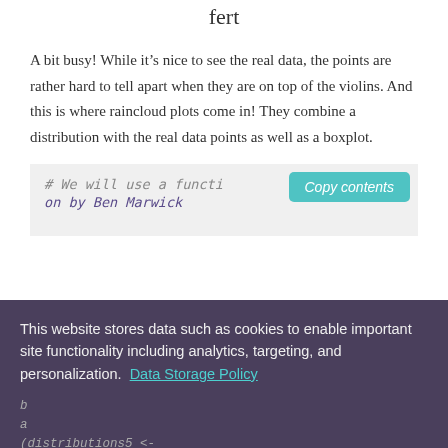fert
A bit busy! While it’s nice to see the real data, the points are rather hard to tell apart when they are on top of the violins. And this is where raincloud plots come in! They combine a distribution with the real data points as well as a boxplot.
[Figure (screenshot): Code block with light gray background showing partial R code starting with '# We will use a functi' and a teal 'Copy contents' button in the top right]
[Figure (screenshot): Cookie consent overlay banner with dark purple background. Text: 'This website stores data such as cookies to enable important site functionality including analytics, targeting, and personalization. Data Storage Policy'. Two yellow buttons: 'Accept' and 'Deny'. Behind the banner, more R code is partially visible.]